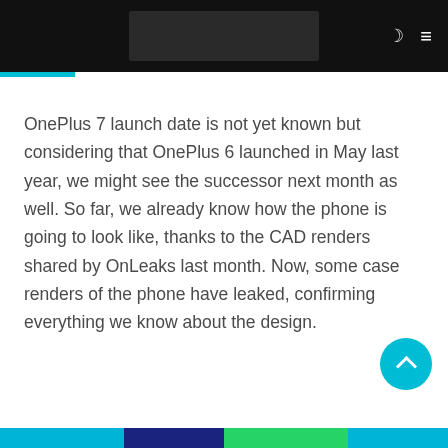[Figure (screenshot): Website header with dark/black background, a rectangular logo placeholder in center, moon icon and hamburger menu icon on the right]
OnePlus 7 launch date is not yet known but considering that OnePlus 6 launched in May last year, we might see the successor next month as well. So far, we already know how the phone is going to look like, thanks to the CAD renders shared by OnLeaks last month. Now, some case renders of the phone have leaked, confirming everything we know about the design.